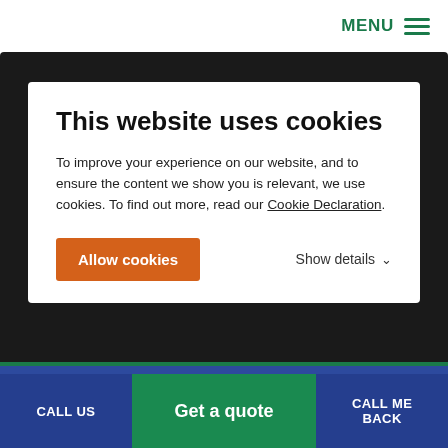MENU
This website uses cookies
To improve your experience on our website, and to ensure the content we show you is relevant, we use cookies. To find out more, read our Cookie Declaration.
Allow cookies   Show details
Choa Chu Kang
Choa Chu Kang, abbreviated CCK, is a residential town in the most
CALL US   Get a quote   CALL ME BACK